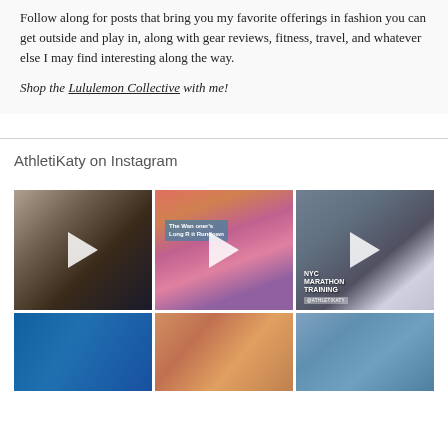Follow along for posts that bring you my favorite offerings in fashion you can get outside and play in, along with gear reviews, fitness, travel, and whatever else I may find interesting along the way.
Shop the Lululemon Collective with me!
AthletiKaty on Instagram
[Figure (photo): Woman in black sports bra with green reflective sunglasses, selfie style, video play button overlay]
[Figure (photo): Blonde woman in pink/colorful athletic wear, text overlay: 'The Wan... oner's Long R... it Rundown', video play button overlay]
[Figure (photo): Woman in light athletic wear with sunglasses, text overlay: 'NYC MARATHON TRAINING', video play button overlay]
[Figure (photo): Blue water/pool surface, partial view]
[Figure (photo): Woman with sunglasses smiling, close-up selfie]
[Figure (photo): Woman with blue reflective sunglasses, outdoor setting]